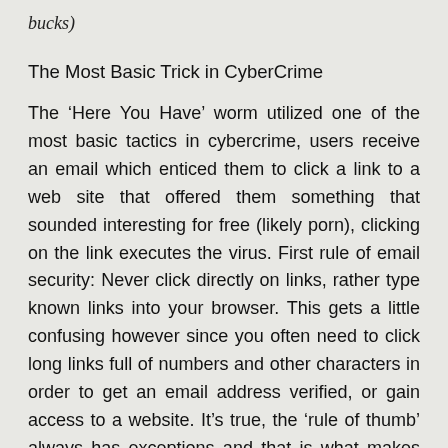bucks)
The Most Basic Trick in CyberCrime
The ‘Here You Have’ worm utilized one of the most basic tactics in cybercrime, users receive an email which enticed them to click a link to a web site that offered them something that sounded interesting for free (likely porn), clicking on the link executes the virus. First rule of email security: Never click directly on links, rather type known links into your browser. This gets a little confusing however since you often need to click long links full of numbers and other characters in order to get an email address verified, or gain access to a website. It’s true, the ‘rule of thumb’ always has exceptions and that is what makes net security so complex. No matter how secure your system is, how well you’ve made sure that you’re